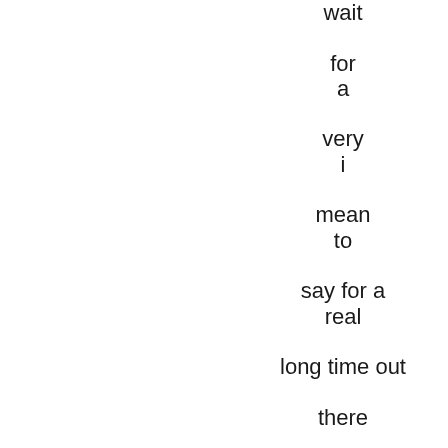wait

for
a

very
i

mean
to

say for a
real

long time out

there